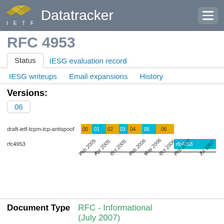IETF Datatracker
RFC 4953
Status | IESG evaluation record | IESG writeups | Email expansions | History
Versions:
06
[Figure (other): Timeline/Gantt chart showing draft-ietf-tcpm-tcp-antispoof versions 00-06 and rfc4953. X-axis shows dates from Feb 2005 to Jul 2007. Draft versions shown as alternating gold/cyan blocks labeled 00,01,02,03,04,05,06. rfc4953 shown as cyan block at Jul 2007.]
Document Type
RFC - Informational (July 2007)